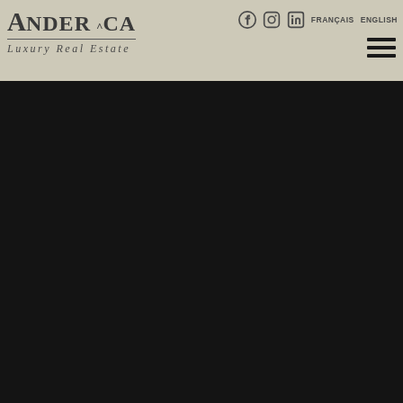AnderCa Luxury Real Estate — header with logo, social icons (Facebook, Instagram, LinkedIn), FRANÇAIS / ENGLISH language switcher, and hamburger menu
[Figure (other): Large dark/black area filling the lower portion of the page — dark photographic or hero image background]